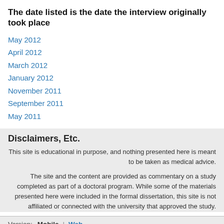The date listed is the date the interview originally took place
May 2012
April 2012
March 2012
January 2012
November 2011
September 2011
May 2011
Disclaimers, Etc.
This site is educational in purpose, and nothing presented here is meant to be taken as medical advice.
The site and the content are provided as commentary on a study completed as part of a doctoral program. While some of the materials presented here were included in the formal dissertation, this site is not affiliated or connected with the university that approved the study.
Version: Mobile | Web